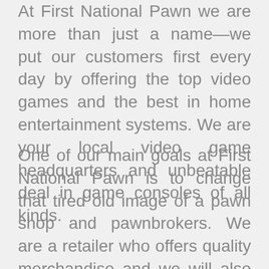At First National Pawn we are more than just a name—we put our customers first every day by offering the top video games and the best in home entertainment systems. We are your local video game headquarters and unbeatable deal in game consoles of all kinds.
One of our main goals at First National Pawn is to change that tired old image of a pawn shop and pawnbrokers. We are a retailer who offers quality merchandise and we will also buy or give you a loan on your video game, game console or any other kind of home entertainment system. When you want to pawn or sell video games whether it's Atari video games and Xbox video games or